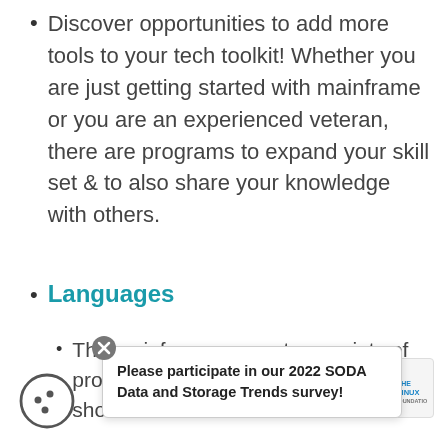Discover opportunities to add more tools to your tech toolkit! Whether you are just getting started with mainframe or you are an experienced veteran, there are programs to expand your skill set & to also share your knowledge with others.
Languages
The mainframe supports a variety of pro...both on z/OS...showcase some of the latest
Please participate in our 2022 SODA Data and Storage Trends survey!